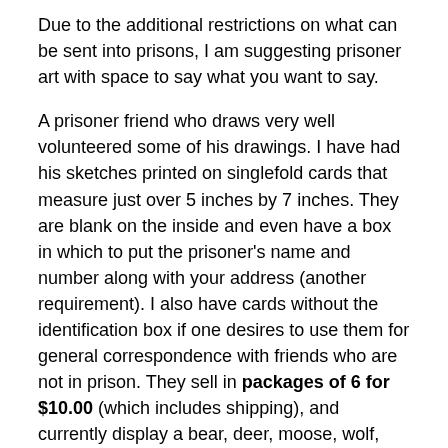Due to the additional restrictions on what can be sent into prisons, I am suggesting prisoner art with space to say what you want to say.
A prisoner friend who draws very well volunteered some of his drawings. I have had his sketches printed on singlefold cards that measure just over 5 inches by 7 inches. They are blank on the inside and even have a box in which to put the prisoner's name and number along with your address (another requirement). I also have cards without the identification box if one desires to use them for general correspondence with friends who are not in prison. They sell in packages of 6 for $10.00 (which includes shipping), and currently display a bear, deer, moose, wolf, bird, and orangutan.
My book, The Prisoner's Prayer Book, is also still available and can be purchased via Amazon for $12.95. I am currently offering a special for anyone interested in